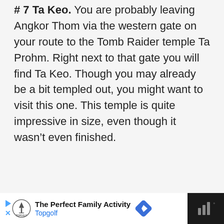# 7 Ta Keo. You are probably leaving Angkor Thom via the western gate on your route to the Tomb Raider temple Ta Prohm. Right next to that gate you will find Ta Keo. Though you may already be a bit templed out, you might want to visit this one. This temple is quite impressive in size, even though it wasn't even finished.
[Figure (other): Advertisement banner at the bottom: dark background bar containing a white section with Topgolf logo, play arrow and X close button, headline 'The Perfect Family Activity', subtext 'Topgolf', a blue navigation/direction diamond icon, and a dark section on the right with a Wi-Fi/signal icon.]